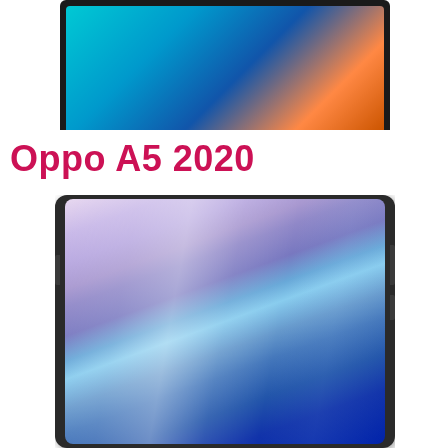[Figure (photo): Top portion of a smartphone with colorful screen showing teal, blue and orange gradient wallpaper, dark frame visible]
Oppo A5 2020
[Figure (photo): Oppo A5 2020 smartphone front view showing colorful iridescent screen with purple, teal, blue gradient wallpaper, dark frame with side buttons visible]